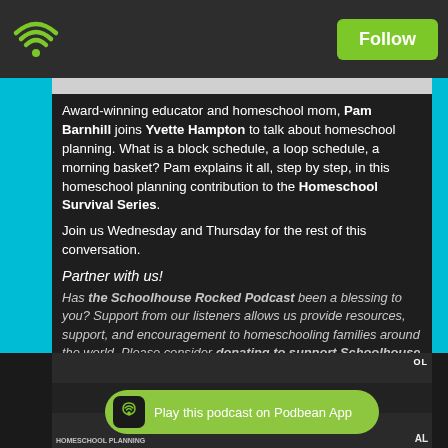[Figure (screenshot): Top navigation bar with green wifi/podcast icon on left and green Follow button on right, dark background]
Award-winning educator and homeschool mom, Pam Barnhill joins Yvette Hampton to talk about homeschool planning. What is a block schedule, a loop schedule, a morning basket? Pam explains it all, step by step, in this homeschool planning contribution to the Homeschool Survival Series.
Join us Wednesday and Thursday for the rest of this conversation.
Partner with us!
Has the Schoolhouse Rocked Podcast been a blessing to you? Support from our listeners allows us provide resources, support, and encouragement to homeschooling families around the world. Please consider donating to support Schoolhouse Rocked.
[Figure (screenshot): Bottom podcast player bar with Podbean App branding and green rounded button saying Play this podcast on Podbean App]